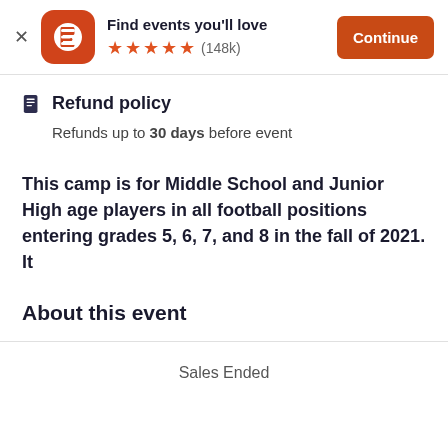[Figure (screenshot): Eventbrite app banner with logo, star rating, and Continue button]
Refund policy
Refunds up to 30 days before event
This camp is for Middle School and Junior High age players in all football positions entering grades 5, 6, 7, and 8 in the fall of 2021. It
About this event
Sales Ended